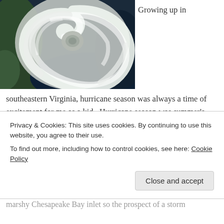[Figure (photo): Satellite aerial photo of a hurricane viewed from above, showing the characteristic spiral cloud structure and eye of the storm over a coastline with dark blue ocean water.]
Growing up in
southeastern Virginia, hurricane season was always a time of excitement for me as a kid.  Hurricane season was summer's last hurrah before back-to-school season. It was the surging conclusion to countless days of sweltering heat, countless days at the pool and beach, countless
Privacy & Cookies: This site uses cookies. By continuing to use this website, you agree to their use.
To find out more, including how to control cookies, see here: Cookie Policy
marshy Chesapeake Bay inlet so the prospect of a storm